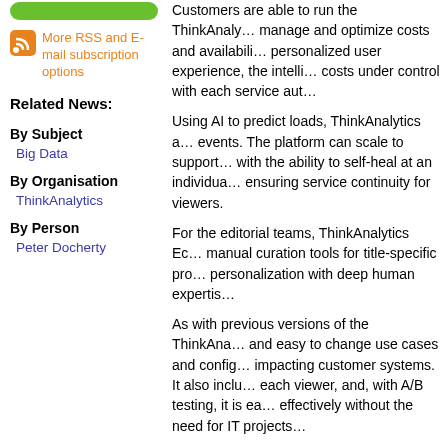[Figure (other): Green rounded rectangle button]
More RSS and E-mail subscription options
Related News:
By Subject
Big Data
By Organisation
ThinkAnalytics
By Person
Peter Docherty
Customers are able to run the ThinkAnaly… manage and optimize costs and availabili… personalized user experience, the intelli… costs under control with each service aut…
Using AI to predict loads, ThinkAnalytics a… events. The platform can scale to support… with the ability to self-heal at an individua… ensuring service continuity for viewers.
For the editorial teams, ThinkAnalytics Ec… manual curation tools for title-specific pro… personalization with deep human expertis…
As with previous versions of the ThinkAna… and easy to change use cases and config… impacting customer systems. It also inclu… each viewer, and, with A/B testing, it is ea… effectively without the need for IT projects…
Furthermore, an enhanced ThinkInsight b… decision-making in areas such as UI/UX,… satisfaction, and marketing services.
The majority of ThinkAnalytics' customer…